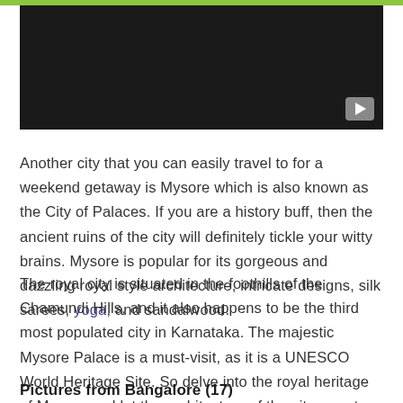[Figure (screenshot): A dark/black video player thumbnail with a grey play button in the bottom-right corner]
Another city that you can easily travel to for a weekend getaway is Mysore which is also known as the City of Palaces. If you are a history buff, then the ancient ruins of the city will definitely tickle your witty brains. Mysore is popular for its gorgeous and dazzling royal style architecture, intricate designs, silk sarees, yoga, and sandalwood.
The royal city is situated in the foothills of the Chamundi Hills, and it also happens to be the third most populated city in Karnataka. The majestic Mysore Palace is a must-visit, as it is a UNESCO World Heritage Site. So delve into the royal heritage of Mysore and let the architecture of the city narrate another interesting tale.
Pictures from Bangalore (17)